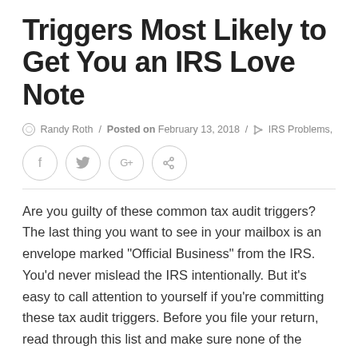Triggers Most Likely to Get You an IRS Love Note
Randy Roth / Posted on February 13, 2018 / IRS Problems,
[Figure (other): Social sharing buttons: Facebook (f), Twitter (bird), Google+ (G+), Pinterest (pin icon)]
Are you guilty of these common tax audit triggers? The last thing you want to see in your mailbox is an envelope marked "Official Business" from the IRS. You'd never mislead the IRS intentionally. But it's easy to call attention to yourself if you're committing these tax audit triggers. Before you file your return, read through this list and make sure none of the following apply... Trigger 1: Failing to Report All